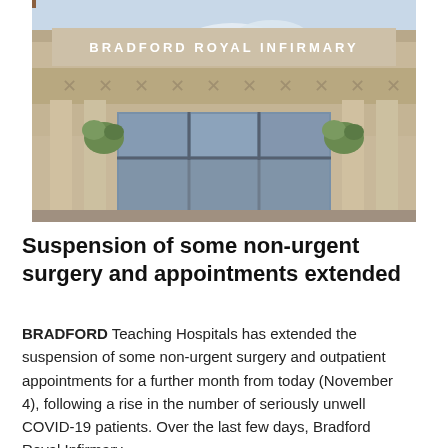[Figure (photo): Photograph of Bradford Royal Infirmary main entrance. A stone building facade with the words 'BRADFORD ROYAL INFIRMARY' and 'MAIN ENTRANCE' inscribed. Large glass entrance doors visible, flanked by stone columns with hanging basket plants.]
Suspension of some non-urgent surgery and appointments extended
BRADFORD Teaching Hospitals has extended the suspension of some non-urgent surgery and outpatient appointments for a further month from today (November 4), following a rise in the number of seriously unwell COVID-19 patients. Over the last few days, Bradford Royal Infirmary